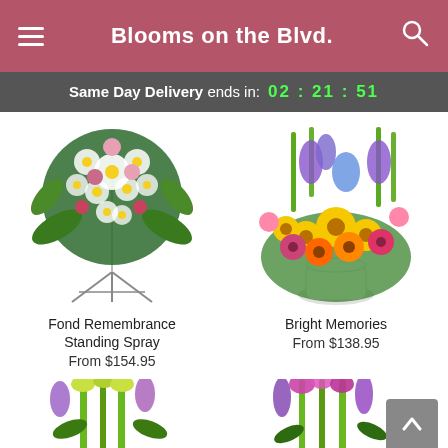Blooms on the Blvd.
Same Day Delivery ends in: 02 : 21 : 51
[Figure (photo): Fond Remembrance Standing Spray – white spray arrangement with pink and red roses on a metal easel stand]
Fond Remembrance Standing Spray
From $154.95
[Figure (photo): Bright Memories – colorful mixed flower arrangement with yellow, purple, pink, and orange blooms in a white vase]
Bright Memories
From $138.95
[Figure (photo): Bottom partial product image – green and yellow flower stems visible, cropped]
[Figure (photo): Bottom partial product image – pink and purple flower stems visible, cropped]